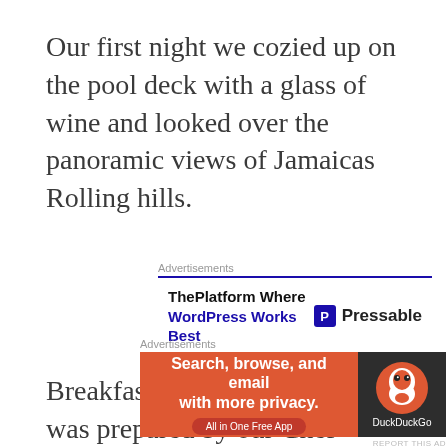Our first night we cozied up on the pool deck with a glass of wine and looked over the panoramic views of Jamaicas Rolling hills.
[Figure (other): Pressable advertisement: ThePlatform Where WordPress Works Best]
Breakfast, Lunch and Dinner was prepared by our Chef Shameka and all our needs were attended to by Lady Julia.
The only people whom I think would not enjoy
[Figure (other): DuckDuckGo advertisement: Search, browse, and email with more privacy. All in One Free App]